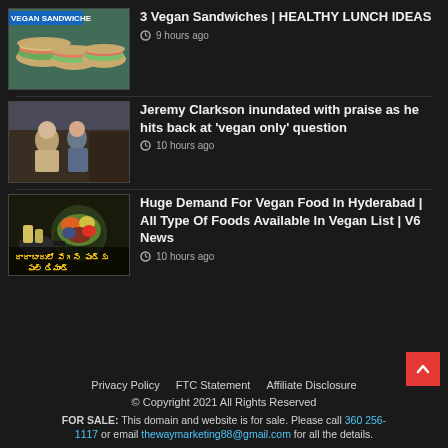3 Vegan Sandwiches | HEALTHY LUNCH IDEAS — 9 hours ago
Jeremy Clarkson inundated with praise as he hits back at 'vegan only' question — 10 hours ago
Huge Demand For Vegan Food In Hyderabad | All Type Of Foods Available In Vegan List | V6 News — 10 hours ago
Privacy Policy   FTC Statement   Affiliate Disclosure
© Copyright 2021 All Rights Reserved
FOR SALE: This domain and website is for sale. Please call 360 256-1117 or email thewaymarketing88@gmail.com for all the details.